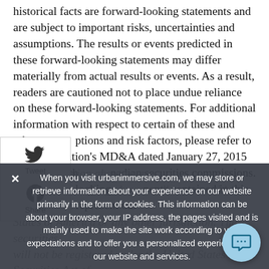historical facts are forward-looking statements and are subject to important risks, uncertainties and assumptions. The results or events predicted in these forward-looking statements may differ materially from actual results or events. As a result, readers are cautioned not to place undue reliance on these forward-looking statements. For additional information with respect to certain of these and other assumptions and risk factors, please refer to the Corporation's MD&A dated January 27, 2015 and filed with Canadian securities commissions. The forward-looking statements contained in this press release represent our
When you visit urbanimmersive.com, we may store or retrieve information about your experience on our website primarily in the form of cookies. This information can be about your browser, your IP address, the pages visited and is mainly used to make the site work according to your expectations and to offer you a personalized experience with our website and services.